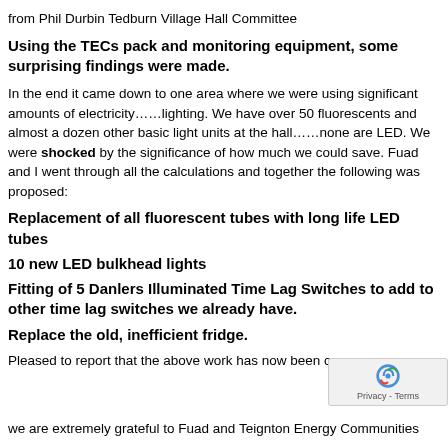from Phil Durbin Tedburn Village Hall Committee
Using the TECs pack and monitoring equipment, some surprising findings were made.
In the end it came down to one area where we were using significant amounts of electricity……lighting. We have over 50 fluorescents and almost a dozen other basic light units at the hall……none are LED. We were shocked by the significance of how much we could save. Fuad and I went through all the calculations and together the following was proposed:
Replacement of all fluorescent tubes with long life LED tubes
10 new LED bulkhead lights
Fitting of 5 Danlers Illuminated Time Lag Switches to add to other time lag switches we already have.
Replace the old, inefficient fridge.
Pleased to report that the above work has now been comp
we are extremely grateful to Fuad and Teignton Energy Communities